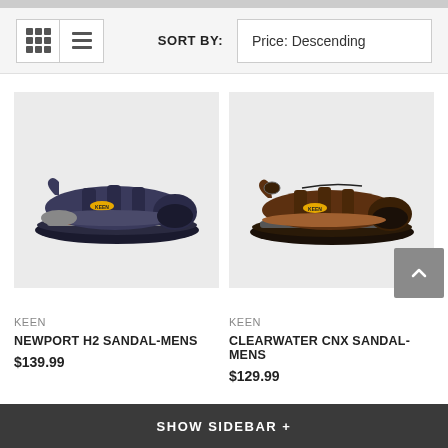SORT BY: Price: Descending
[Figure (photo): KEEN Newport H2 Sandal-Mens, a navy blue sport sandal with orange accent on midsole, shown on light gray background]
[Figure (photo): KEEN Clearwater CNX Sandal-Mens, a brown leather sport sandal with closed toe, shown on light gray background]
KEEN
NEWPORT H2 SANDAL-MENS
$139.99
KEEN
CLEARWATER CNX SANDAL-MENS
$129.99
SHOW SIDEBAR +